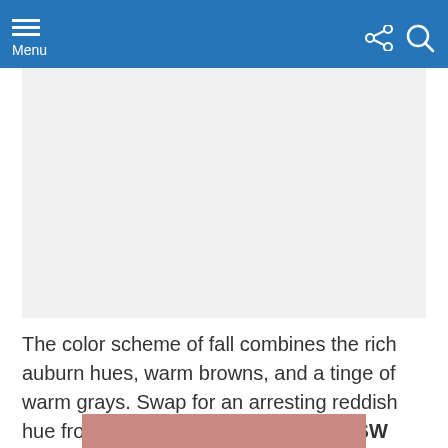Menu
[Figure (other): Light gray placeholder image area for a paint color photo]
The color scheme of fall combines the rich auburn hues, warm browns, and a tinge of warm grays. Swap for an arresting reddish hue from Sherwin William's Cordial SW 6306 (above) for a swankier tone use Resounding Rose SW 6318 (below).
[Figure (other): Color swatch showing a muted rose/blush pink color (Resounding Rose SW 6318)]